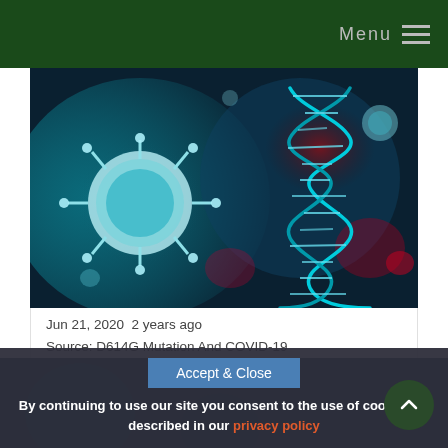Menu
[Figure (photo): Close-up illustration of coronavirus particle and DNA double helix strand on a blue-red background]
Jun 21, 2020  2 years ago
Source: D614G Mutation And COVID-19
WARNING! D614G Mutation Coronavirus Strains From Europe Could Render Those Recovered From Earlier Strains Defenseless According to China
[Figure (photo): Partially visible second image at the bottom of the page, dark blue/teal background]
Accept & Close
By continuing to use our site you consent to the use of cookies as described in our privacy policy